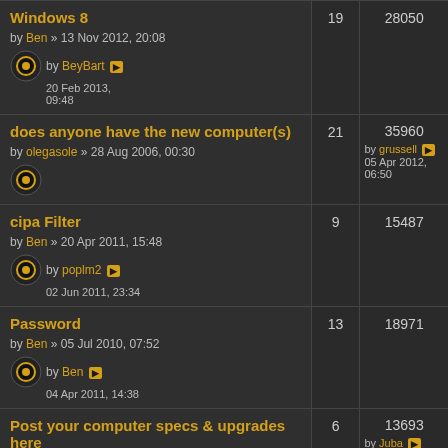Windows 8 by Ben » 13 Nov 2012, 20:08 | 19 | 28050
does anyone have the new computer(s) by olegasole » 28 Aug 2006, 00:30 | 21 | 35960 | by grussell 05 Apr 2012, 06:50
cipa Filter by Ben » 20 Apr 2011, 15:48 | 9 | 15487
Password by Ben » 05 Jul 2010, 07:52 | 13 | 18971
Post your computer specs & upgrades here by Juba » 15 Nov 2009, 17:03 | 6 | 13693 | by Juba 22 Sep 2010, 15:33
Desktop pics by Juba » 17 Jan 2010, 11:57 | 0 | 6910